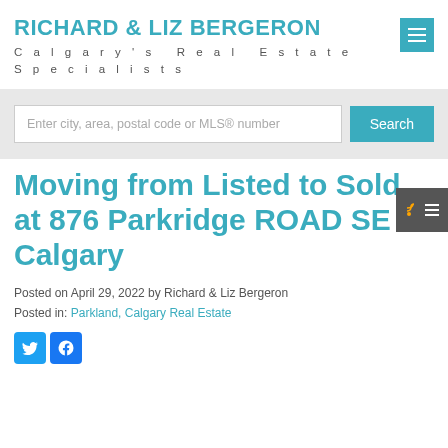RICHARD & LIZ BERGERON
Calgary's Real Estate Specialists
[Figure (screenshot): Search bar with placeholder text 'Enter city, area, postal code or MLS® number' and a teal 'Search' button]
Moving from Listed to Sold at 876 Parkridge ROAD SE in Calgary
Posted on April 29, 2022 by Richard & Liz Bergeron
Posted in: Parkland, Calgary Real Estate
[Figure (illustration): Twitter and Facebook social share icons]